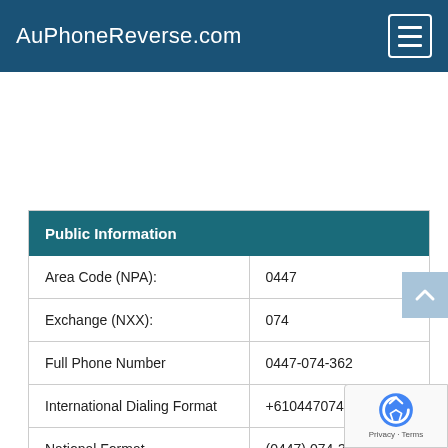AuPhoneReverse.com
| Public Information |  |
| --- | --- |
| Area Code (NPA): | 0447 |
| Exchange (NXX): | 074 |
| Full Phone Number | 0447-074-362 |
| International Dialing Format | +61044707436​2 |
| National Format | (0447) 074-362 |
| Country: | Australia |